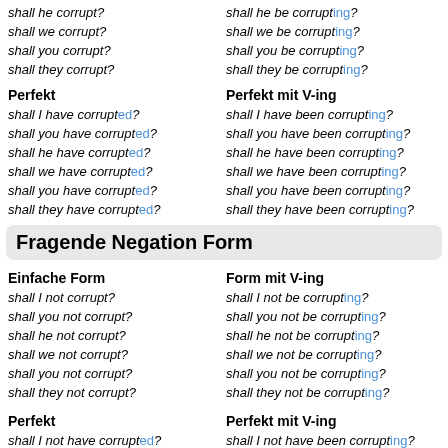shall he corrupt?
shall we corrupt?
shall you corrupt?
shall they corrupt?
shall he be corrupting?
shall we be corrupting?
shall you be corrupting?
shall they be corrupting?
Perfekt
Perfekt mit V-ing
shall I have corrupted?
shall you have corrupted?
shall he have corrupted?
shall we have corrupted?
shall you have corrupted?
shall they have corrupted?
shall I have been corrupting?
shall you have been corrupting?
shall he have been corrupting?
shall we have been corrupting?
shall you have been corrupting?
shall they have been corrupting?
Fragende Negation Form
Einfache Form
Form mit V-ing
shall I not corrupt?
shall you not corrupt?
shall he not corrupt?
shall we not corrupt?
shall you not corrupt?
shall they not corrupt?
shall I not be corrupting?
shall you not be corrupting?
shall he not be corrupting?
shall we not be corrupting?
shall you not be corrupting?
shall they not be corrupting?
Perfekt
Perfekt mit V-ing
shall I not have corrupted?
shall you not have corrupted?
shall he not have corrupted?
shall I not have been corrupting?
shall you not have been corrupting?
shall he not have been corrupting?